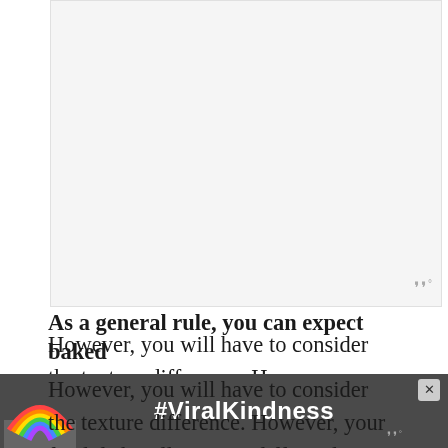[Figure (other): Light gray advertisement placeholder box in upper portion of page]
However, you will have to consider the texture difference. However, your final dish will turn out differently depending on what you choose to use when it comes to corn flour or cornmeal.
As a general rule, you can expect baked di... to e
[Figure (other): Bottom advertisement banner with rainbow illustration and #ViralKindness hashtag on dark background, with close button X]